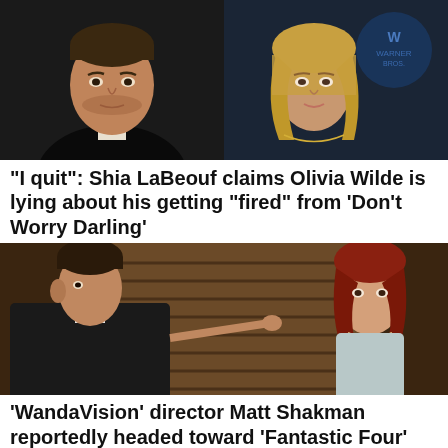[Figure (photo): Side-by-side photos: left shows a man in a dark suit (Shia LaBeouf), right shows a woman with blonde hair at a Warner Bros event (Olivia Wilde)]
“I quit”: Shia LaBeouf claims Olivia Wilde is lying about his getting “fired” from ‘Don’t Worry Darling’
[Figure (photo): Scene from WandaVision: a man in period clothing pointing at wooden shutters, a woman with red hair looking on]
‘WandaVision’ director Matt Shakman reportedly headed toward ‘Fantastic Four’ for Marvel Studios
[Figure (photo): A woman with silver-white hair against a light blue sky background, from House of the Dragon]